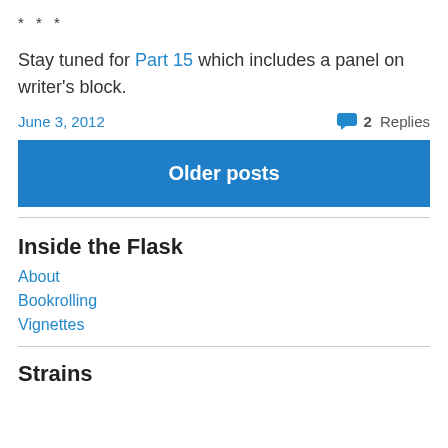* * *
Stay tuned for Part 15 which includes a panel on writer’s block.
June 3, 2012   💬 2 Replies
Older posts
Inside the Flask
About
Bookrolling
Vignettes
Strains